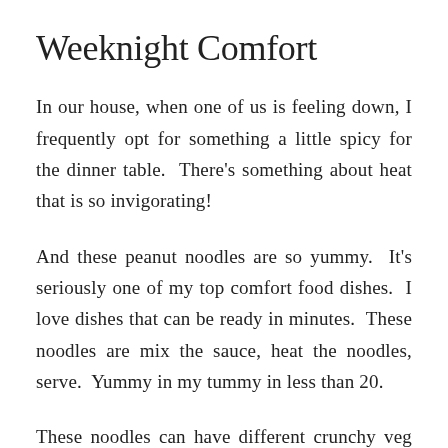Weeknight Comfort
In our house, when one of us is feeling down, I frequently opt for something a little spicy for the dinner table.  There's something about heat that is so invigorating!
And these peanut noodles are so yummy.  It's seriously one of my top comfort food dishes.  I love dishes that can be ready in minutes.  These noodles are mix the sauce, heat the noodles, serve.  Yummy in my tummy in less than 20.
These noodles can have different crunchy veg added.  I've used carrots frequently, but you might